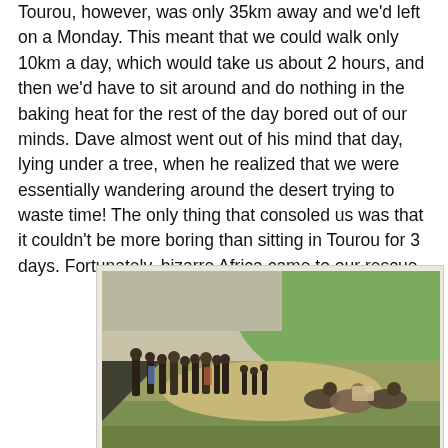Tourou, however, was only 35km away and we'd left on a Monday. This meant that we could walk only 10km a day, which would take us about 2 hours, and then we'd have to sit around and do nothing in the baking heat for the rest of the day bored out of our minds. Dave almost went out of his mind that day, lying under a tree, when he realized that we were essentially wandering around the desert trying to waste time! The only thing that consoled us was that it couldn't be more boring than sitting in Tourou for 3 days. Fortunately, bizarre Africa came to our rescue.
[Figure (photo): A group of people gathered outdoors in what appears to be Cameroun. Several people are standing in a line on the left, while others are sitting on the ground on the right. The background shows a green hillside and open grassy terrain.]
Lance eating breakfast drew large crowds, Cameroun